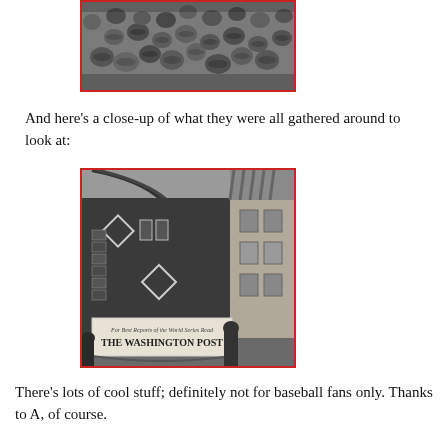[Figure (photo): Black and white photo of a crowd of men gathered, viewed from above, wearing hats]
And here's a close-up of what they were all gathered around to look at:
[Figure (photo): Black and white photo of a building exterior with a scoreboard-like display showing baseball diamond shapes, with a sign reading 'For Best Reports of the World Series Read THE WASHINGTON POST']
There's lots of cool stuff; definitely not for baseball fans only. Thanks to A, of course.